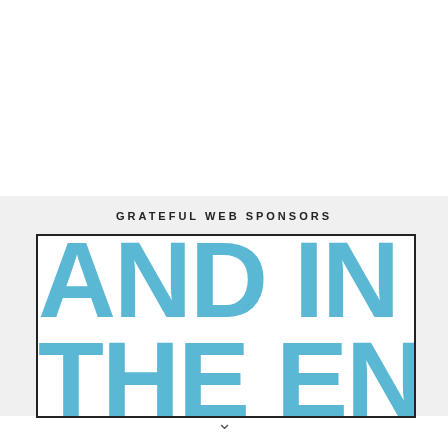GRATEFUL WEB SPONSORS
[Figure (other): Advertisement banner with large bold blue text reading 'AND IN THE END' cropped inside a black-bordered white box on a light gray background.]